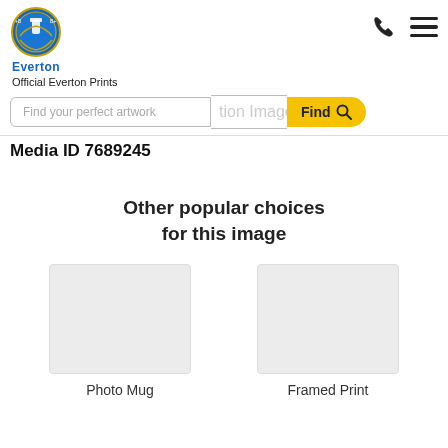[Figure (logo): Everton FC crest logo with text 'Everton' below]
Official Everton Prints
Find your perfect artwork
Find
Media ID 7689245
Other popular choices for this image
Photo Mug
Framed Print